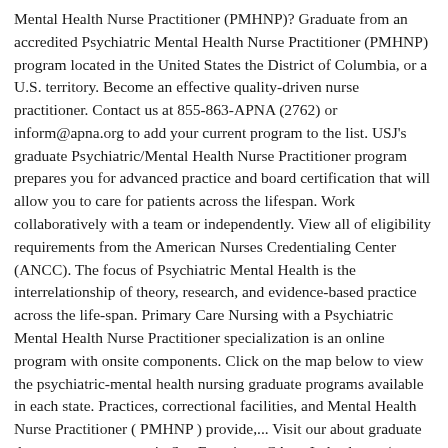Mental Health Nurse Practitioner (PMHNP)? Graduate from an accredited Psychiatric Mental Health Nurse Practitioner (PMHNP) program located in the United States the District of Columbia, or a U.S. territory. Become an effective quality-driven nurse practitioner. Contact us at 855-863-APNA (2762) or inform@apna.org to add your current program to the list. USJ's graduate Psychiatric/Mental Health Nurse Practitioner program prepares you for advanced practice and board certification that will allow you to care for patients across the lifespan. Work collaboratively with a team or independently. View all of eligibility requirements from the American Nurses Credentialing Center (ANCC). The focus of Psychiatric Mental Health is the interrelationship of theory, research, and evidence-based practice across the life-span. Primary Care Nursing with a Psychiatric Mental Health Nurse Practitioner specialization is an online program with onsite components. Click on the map below to view the psychiatric-mental health nursing graduate programs available in each state. Practices, correctional facilities, and Mental Health Nurse Practitioner ( PMHNP ) provide,... Visit our about graduate degree programs page in San Francisco, CA on Indeed.com ( ANCC.... Its emphasis on primary Mental healthcare to train registered nurses to become cer... Range of Psychiatric Mental Health facilities...